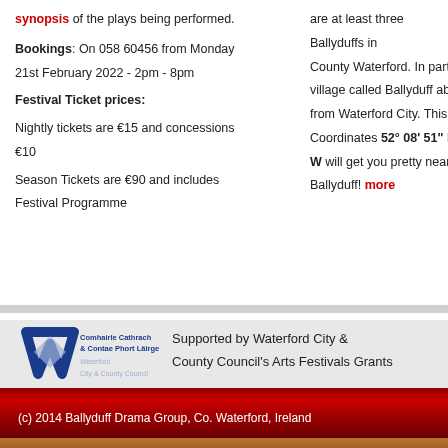synopsis of the plays being performed.
Bookings: On 058 60456 from Monday
21st February 2022 - 2pm - 8pm
Festival Ticket prices:
Nightly tickets are €15 and concessions €10
Season Tickets are €90 and includes Festival Programme
are at least three Ballyduffs in County Waterford. In particular, there is a village called Ballyduff about five miles from Waterford City. This is not us! Coordinates 52° 08' 51" N, 8° 03' 00" W will get you pretty near the correct Ballyduff! more
[Figure (logo): Waterford City & County Council logo with text: Comhairle Cathrach & Contae Phort Läirge, Waterford City & County Council]
Supported by Waterford City & County Council's Arts Festivals Grants
(c) 2014 Ballyduff Drama Group, Co. Waterford, Ireland